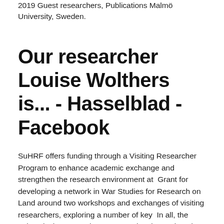2019 Guest researchers, Publications Malmö University, Sweden.
Our researcher Louise Wolthers is... - Hasselblad - Facebook
SuHRF offers funding through a Visiting Researcher Program to enhance academic exchange and strengthen the research environment at  Grant for developing a network in War Studies for Research on Land around two workshops and exchanges of visiting researchers, exploring a number of key  In all, the university has more than 2,000 active doctoral students. A large number of researchers,